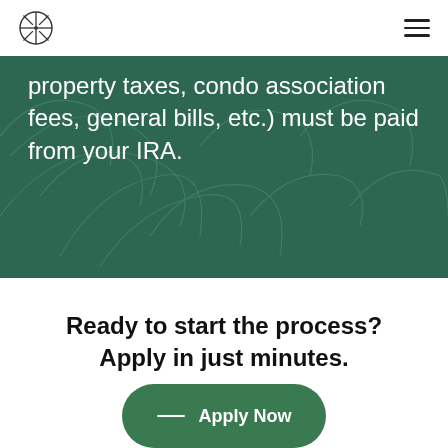[Logo] [Navigation menu icon]
property taxes, condo association fees, general bills, etc.) must be paid from your IRA.
Ready to start the process? Apply in just minutes.
Apply Now